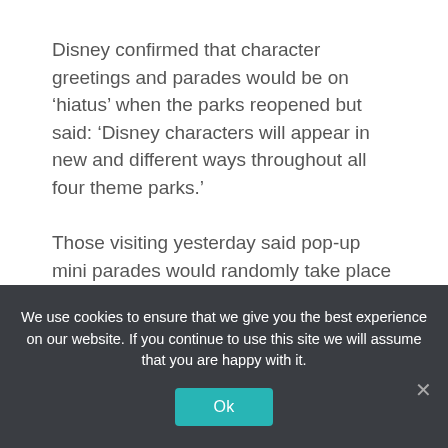Disney confirmed that character greetings and parades would be on 'hiatus' when the parks reopened but said: 'Disney characters will appear in new and different ways throughout all four theme parks.'
Those visiting yesterday said pop-up mini parades would randomly take place instead.
Williams also told the news station: 'It's all random. This keeps the crowds from gathering.'
Constant cleaning
We use cookies to ensure that we give you the best experience on our website. If you continue to use this site we will assume that you are happy with it.